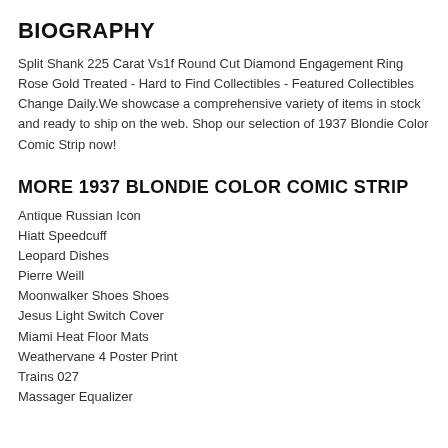BIOGRAPHY
Split Shank 225 Carat Vs1f Round Cut Diamond Engagement Ring Rose Gold Treated - Hard to Find Collectibles - Featured Collectibles Change Daily.We showcase a comprehensive variety of items in stock and ready to ship on the web. Shop our selection of 1937 Blondie Color Comic Strip now!
MORE 1937 BLONDIE COLOR COMIC STRIP
Antique Russian Icon
Hiatt Speedcuff
Leopard Dishes
Pierre Weill
Moonwalker Shoes Shoes
Jesus Light Switch Cover
Miami Heat Floor Mats
Weathervane 4 Poster Print
Trains 027
Massager Equalizer